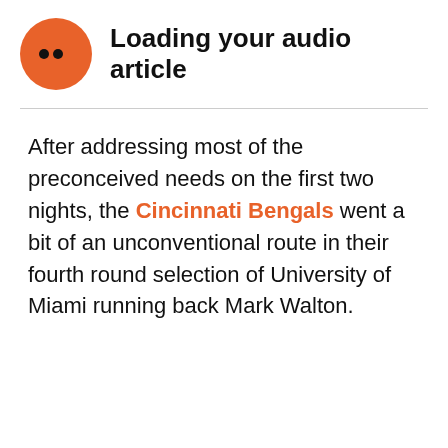[Figure (other): Orange circular audio player icon with two black dots, next to bold text 'Loading your audio article']
After addressing most of the preconceived needs on the first two nights, the Cincinnati Bengals went a bit of an unconventional route in their fourth round selection of University of Miami running back Mark Walton.